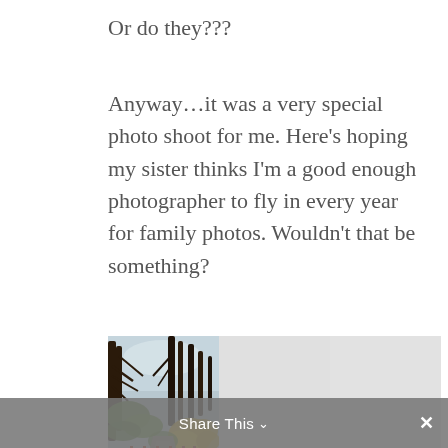Or do they???
Anyway…it was a very special photo shoot for me. Here's hoping my sister thinks I'm a good enough photographer to fly in every year for family photos. Wouldn't that be something?
[Figure (photo): Three side-by-side photos: left photo shows an outdoor park path with trees and yellow flowering bushes, a wooden fence, and wet pavement; the middle and right photos are placeholder grey boxes (images not loaded).]
Happy holidays everyone! Hope you have all gotten your family photos by now. If I can
Share This ×